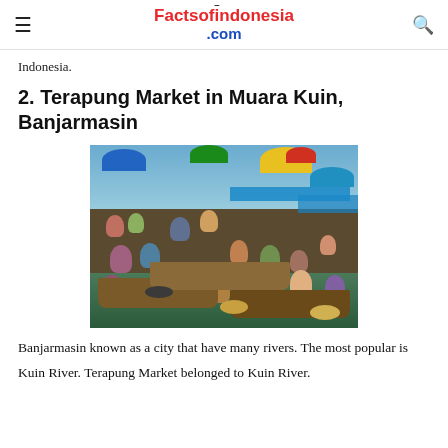Factsofindonesia.com
Indonesia.
2. Terapung Market in Muara Kuin, Banjarmasin
[Figure (photo): Aerial/elevated view of a crowded floating market with wooden boats on a river, people selling goods, colorful umbrellas overhead including blue, yellow, red, and green umbrellas, blue tarps, vendors and buyers in traditional hats.]
Banjarmasin known as a city that have many rivers. The most popular is Kuin River. Terapung Market belonged to Kuin River.